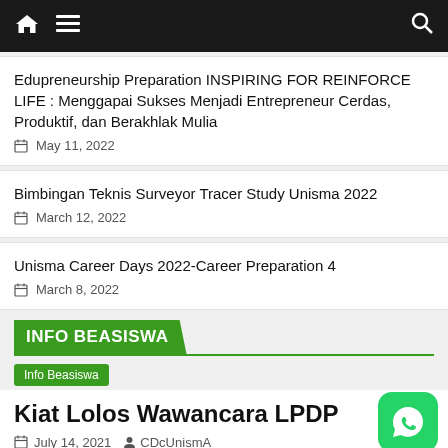Navigation bar with home icon, menu icon, search icon
Edupreneurship Preparation INSPIRING FOR REINFORCE LIFE : Menggapai Sukses Menjadi Entrepreneur Cerdas, Produktif, dan Berakhlak Mulia
May 11, 2022
Bimbingan Teknis Surveyor Tracer Study Unisma 2022
March 12, 2022
Unisma Career Days 2022-Career Preparation 4
March 8, 2022
INFO BEASISWA
Info Beasiswa
Kiat Lolos Wawancara LPDP
July 14, 2021   CDcUnismA